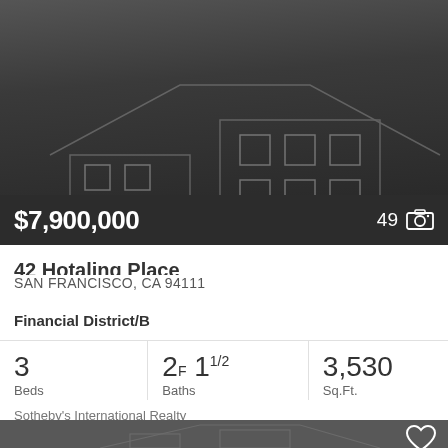[Figure (photo): Dark background listing card with house outline/illustration and price overlay showing $7,900,000 with 49 photos indicator]
42 Hotaling Place
SAN FRANCISCO, CA 94111
Financial District/B
| Beds | Baths | Sq.Ft. |
| --- | --- | --- |
| 3 | 2F 1½ | 3,530 |
Sotheby's International Realty
[Figure (photo): Second listing card with dark gray background and house outline illustration, with heart/favorite icon]